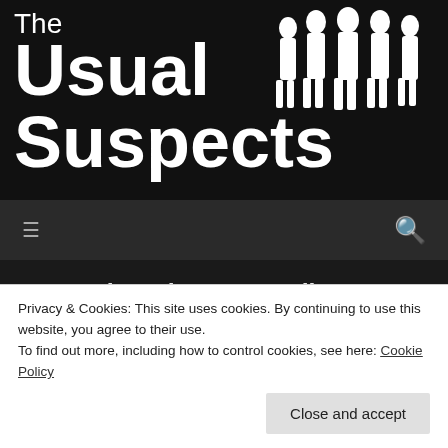The Usual Suspects
[Figure (illustration): Silhouette of multiple standing figures in white against a dark background, positioned in the top right of the header]
Upcoming Shows – April to June
APRIL 22, 2016 / DAVIDHANDY
April 2016
Privacy & Cookies: This site uses cookies. By continuing to use this website, you agree to their use.
To find out more, including how to control cookies, see here: Cookie Policy
Close and accept